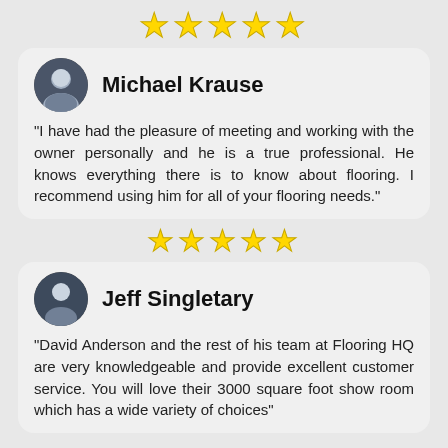[Figure (other): Five gold star rating row]
[Figure (photo): Circular avatar photo of Michael Krause]
Michael Krause
"I have had the pleasure of meeting and working with the owner personally and he is a true professional. He knows everything there is to know about flooring. I recommend using him for all of your flooring needs."
[Figure (other): Five gold star rating row]
[Figure (photo): Circular avatar photo of Jeff Singletary]
Jeff Singletary
"David Anderson and the rest of his team at Flooring HQ are very knowledgeable and provide excellent customer service. You will love their 3000 square foot show room which has a wide variety of choices"